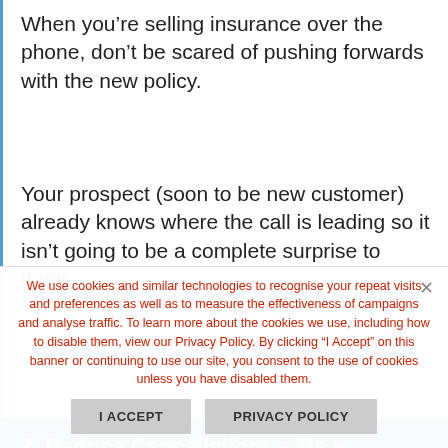When you’re selling insurance over the phone, don’t be scared of pushing forwards with the new policy.
Your prospect (soon to be new customer) already knows where the call is leading so it isn’t going to be a complete surprise to them.
7. Reduce Cancellations – Be a
We use cookies and similar technologies to recognise your repeat visits and preferences as well as to measure the effectiveness of campaigns and analyse traffic. To learn more about the cookies we use, including how to disable them, view our Privacy Policy. By clicking “I Accept” on this banner or continuing to use our site, you consent to the use of cookies unless you have disabled them.
I ACCEPT
PRIVACY POLICY